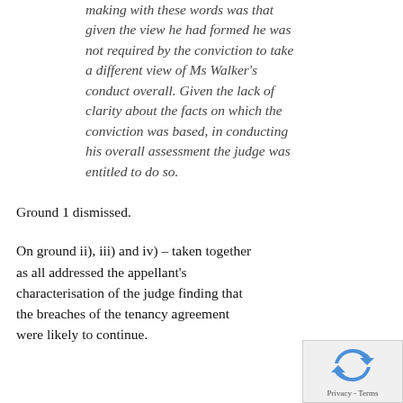I believe the point the judge was making with these words was that given the view he had formed he was not required by the conviction to take a different view of Ms Walker's conduct overall. Given the lack of clarity about the facts on which the conviction was based, in conducting his overall assessment the judge was entitled to do so.
Ground 1 dismissed.
On ground ii), iii) and iv) – taken together as all addressed the appellant's characterisation of the judge finding that the breaches of the tenancy agreement were likely to continue.